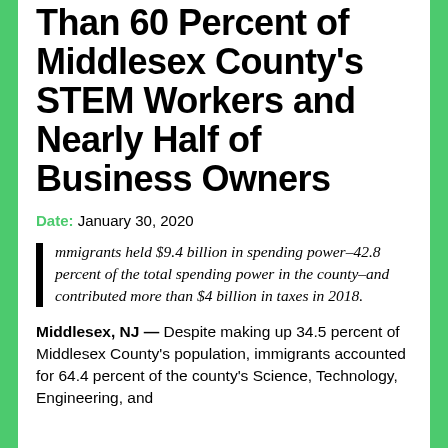Than 60 Percent of Middlesex County's STEM Workers and Nearly Half of Business Owners
Date: January 30, 2020
Immigrants held $9.4 billion in spending power–42.8 percent of the total spending power in the county–and contributed more than $4 billion in taxes in 2018.
Middlesex, NJ — Despite making up 34.5 percent of Middlesex County's population, immigrants accounted for 64.4 percent of the county's Science, Technology, Engineering, and